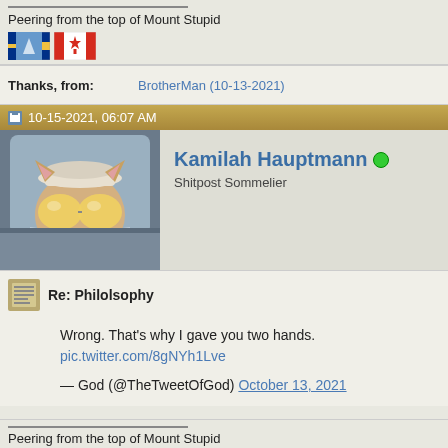Peering from the top of Mount Stupid
[Figure (illustration): Alberta flag and Canadian flag emoji/icons side by side]
| Thanks, from: | BrotherMan (10-13-2021) |
| --- | --- |
10-15-2021, 06:07 AM
[Figure (photo): Cat wearing sunglasses and a hat, leaning out of a car window]
Kamilah Hauptmann
Shitpost Sommelier
Re: Philolsophy
Wrong. That's why I gave you two hands. pic.twitter.com/8gNYh1Lve
— God (@TheTweetOfGod) October 13, 2021
Peering from the top of Mount Stupid